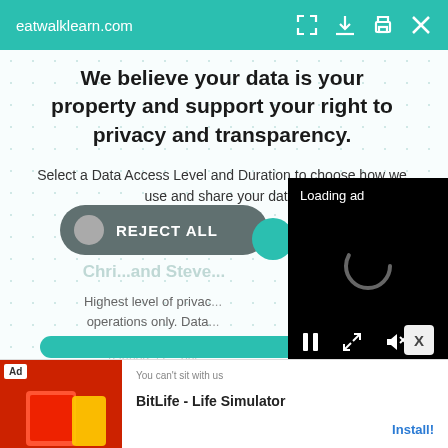eatwalklearn.com
We believe your data is your property and support your right to privacy and transparency.
Select a Data Access Level and Duration to choose how we use and share your data.
[Figure (screenshot): REJECT ALL button (dark teal pill shape with grey circle), gold circle, purple circle]
[Figure (screenshot): Partially visible green circle and faded background text about privacy level]
Highest level of privacy. Data is accessed for operations only. Data shared with 3rd parties to ensure the site is secure and works on your device.
[Figure (screenshot): Black video player overlay showing 'Loading ad' text with spinning loader and playback controls (pause, expand, mute)]
[Figure (screenshot): Partially visible teal Accept All button at bottom, with X close button]
[Figure (screenshot): Ad banner at bottom: BitLife - Life Simulator game ad with Install button]